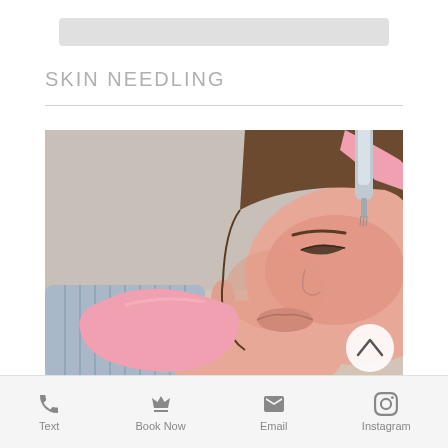SKIN NEEDLING
[Figure (photo): A woman lying down receiving skin needling treatment on her face. A practitioner wearing pink gloves holds a microneedling device to her forehead. The woman's face is reddened from the treatment. A scroll-up button is overlaid in the bottom-right of the image.]
Text   Book Now   Email   Instagram